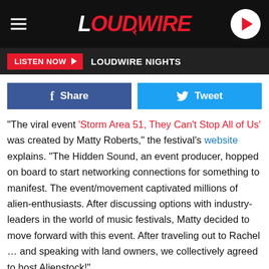LOUDWIRE
LISTEN NOW  LOUDWIRE NIGHTS
Share  Tweet
"The viral event 'Storm Area 51, They Can't Stop All of Us' was created by Matty Roberts," the festival's website explains. "The Hidden Sound, an event producer, hopped on board to start networking connections for something to manifest. The event/movement captivated millions of alien-enthusiasts. After discussing options with industry-leaders in the world of music festivals, Matty decided to move forward with this event. After traveling out to Rachel … and speaking with land owners, we collectively agreed to host Alienstock!"
Two million people signed on for the Area 51 raid, as